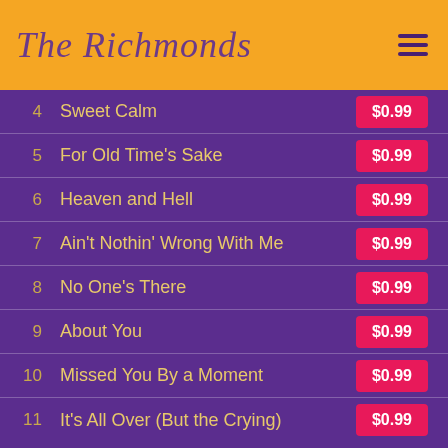The Richmonds
4  Sweet Calm  $0.99
5  For Old Time's Sake  $0.99
6  Heaven and Hell  $0.99
7  Ain't Nothin' Wrong With Me  $0.99
8  No One's There  $0.99
9  About You  $0.99
10  Missed You By a Moment  $0.99
11  It's All Over (But the Crying)  $0.99